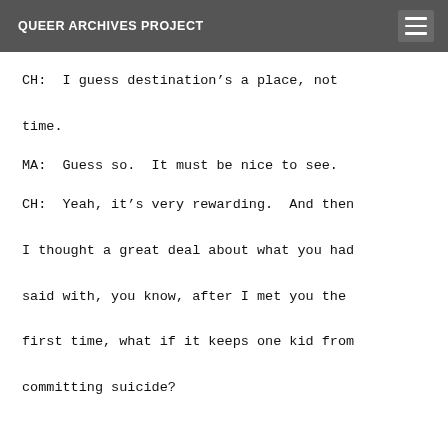QUEER ARCHIVES PROJECT
CH:  I guess destination’s a place, not time.
MA:  Guess so.  It must be nice to see.
CH:  Yeah, it’s very rewarding.  And then I thought a great deal about what you had said with, you know, after I met you the first time, what if it keeps one kid from committing suicide?